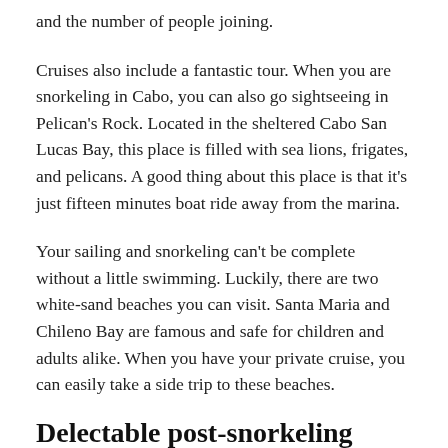and the number of people joining.
Cruises also include a fantastic tour. When you are snorkeling in Cabo, you can also go sightseeing in Pelican's Rock. Located in the sheltered Cabo San Lucas Bay, this place is filled with sea lions, frigates, and pelicans. A good thing about this place is that it's just fifteen minutes boat ride away from the marina.
Your sailing and snorkeling can't be complete without a little swimming. Luckily, there are two white-sand beaches you can visit. Santa Maria and Chileno Bay are famous and safe for children and adults alike. When you have your private cruise, you can easily take a side trip to these beaches.
Delectable post-snorkeling menu